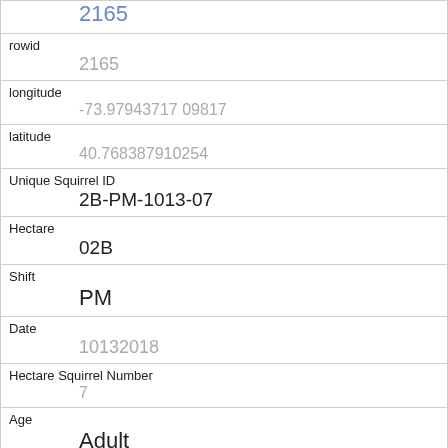| Field | Value |
| --- | --- |
|  | 2165 |
| rowid | 2165 |
| longitude | -73.97943717 09817 |
| latitude | 40.768387910254 |
| Unique Squirrel ID | 2B-PM-1013-07 |
| Hectare | 02B |
| Shift | PM |
| Date | 10132018 |
| Hectare Squirrel Number | 7 |
| Age | Adult |
| Primary Fur Color | Cinnamon |